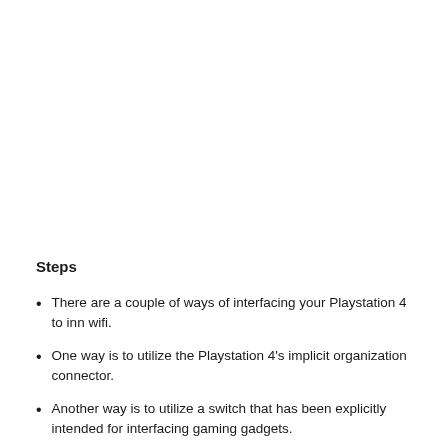Steps
There are a couple of ways of interfacing your Playstation 4 to inn wifi.
One way is to utilize the Playstation 4’s implicit organization connector.
Another way is to utilize a switch that has been explicitly intended for interfacing gaming gadgets.